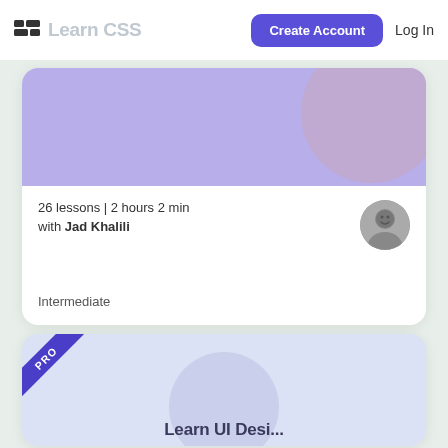Learn CSS   Create Account   Log In
[Figure (screenshot): Course card with purple hero banner and circular decorative shape]
26 lessons | 2 hours 2 min
with Jad Khalili
Intermediate
[Figure (screenshot): Second course card with light blue/purple hero banner, PRO badge in top-left corner, and partial title text at bottom]